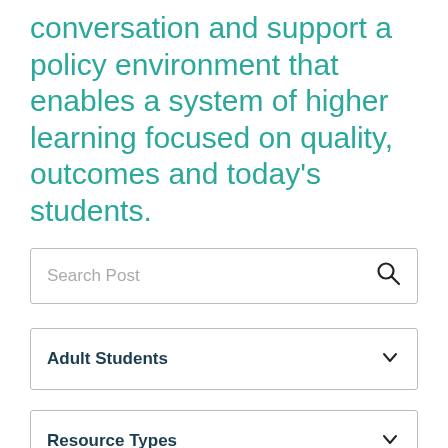conversation and support a policy environment that enables a system of higher learning focused on quality, outcomes and today's students.
Search Post
Adult Students
Resource Types